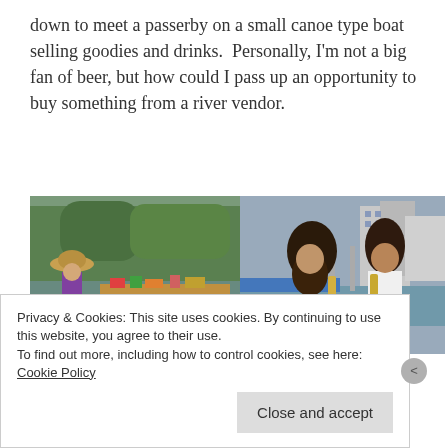down to meet a passerby on a small canoe type boat selling goodies and drinks.  Personally, I'm not a big fan of beer, but how could I pass up an opportunity to buy something from a river vendor.
[Figure (photo): Two side-by-side photos: left shows an elderly woman in a purple jacket and wide-brimmed hat on a boat laden with goods; right shows two smiling women holding beer bottles on a river boat with city skyline behind them.]
Upon reaching the end of our path, we got an opportunity
Privacy & Cookies: This site uses cookies. By continuing to use this website, you agree to their use.
To find out more, including how to control cookies, see here: Cookie Policy
Close and accept